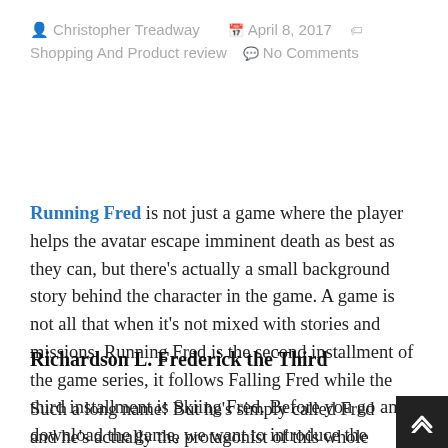Christopher Treadway   April 8, 2017   Shopping And Product review   No Comments
Running Fred is not just a game where the player helps the avatar escape imminent death as best as they can, but there's actually a small background story behind the character in the game. A game is not all that when it's not mixed with stories and missions. Running Fred is the second installment of the game series, it follows Falling Fred while the third installment is Skiing Fred. Before you go and download the game, we want to introduce the entertaining little characters to you.
Richardson L. Frederick the Third
Such a long name! But he's simply called Fred and he's actually the protagonist of this whole game.